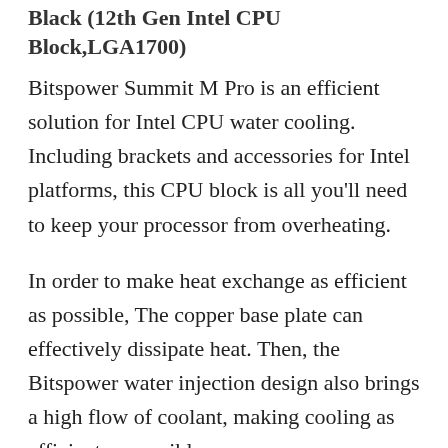Black (12th Gen Intel CPU Block,LGA1700)
Bitspower Summit M Pro is an efficient solution for Intel CPU water cooling. Including brackets and accessories for Intel platforms, this CPU block is all you'll need to keep your processor from overheating.
In order to make heat exchange as efficient as possible, The copper base plate can effectively dissipate heat. Then, the Bitspower water injection design also brings a high flow of coolant, making cooling as efficient as possible.